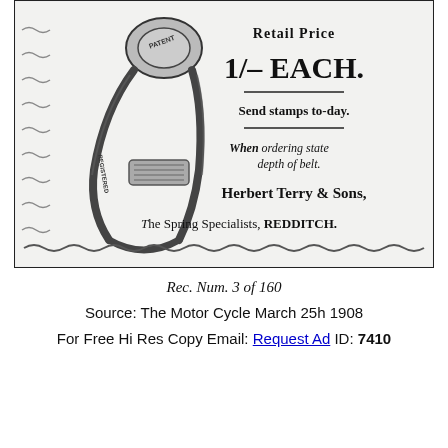[Figure (illustration): Vintage advertisement illustration showing a patent belt fastener/clamp device (spring clip) with 'PATENT' and 'REGISTERED' markings, drawn in black and white engraving style. The ad is framed with a wavy decorative border. Text on the right side reads: Retail Price, 1/- EACH., Send stamps to-day., When ordering state depth of belt. Herbert Terry & Sons, The Spring Specialists, REDDITCH.]
Rec. Num. 3 of 160
Source: The Motor Cycle March 25h 1908
For Free Hi Res Copy Email: Request Ad ID: 7410